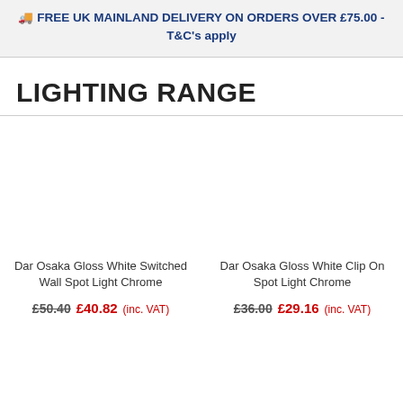🚚 FREE UK MAINLAND DELIVERY ON ORDERS OVER £75.00 - T&C's apply
LIGHTING RANGE
Dar Osaka Gloss White Switched Wall Spot Light Chrome
£50.40  £40.82 (inc. VAT)
Dar Osaka Gloss White Clip On Spot Light Chrome
£36.00  £29.16 (inc. VAT)